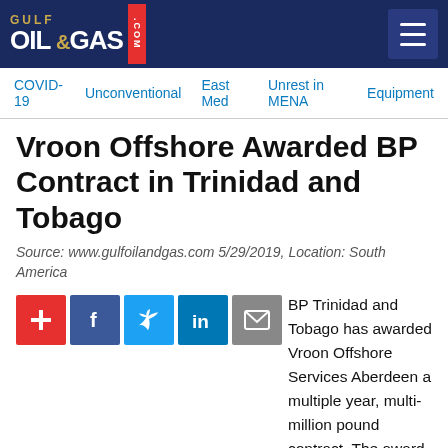Gulf Oil & Gas .com
Vroon Offshore Awarded BP Contract in Trinidad and Tobago
Source: www.gulfoilandgas.com 5/29/2019, Location: South America
[Figure (infographic): Social sharing icons: plus/add, Facebook, Twitter, LinkedIn, Email]
BP Trinidad and Tobago has awarded Vroon Offshore Services Aberdeen a multiple year, multi-million pound contract. The award will see industry recognised North Sea emergency response vessels and expertise transferred to international waters.
Vroon Offshore, the North Sea's largest operator of emergency